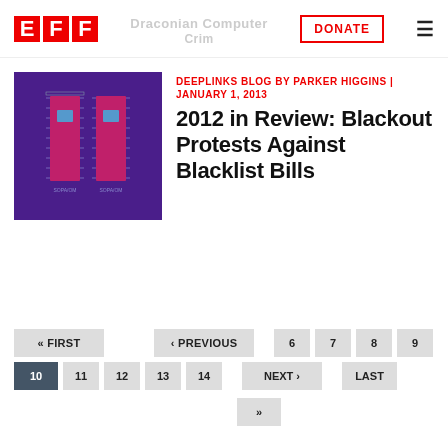EFF | Draconian Computer Crimes | DONATE
[Figure (illustration): Purple background with two vertical bar/column designs in blue and red, resembling a data visualization or abstract graphic]
DEEPLINKS BLOG BY PARKER HIGGINS | JANUARY 1, 2013
2012 in Review: Blackout Protests Against Blacklist Bills
« FIRST ‹ PREVIOUS 6 7 8 9
10 11 12 13 14 NEXT › LAST
»